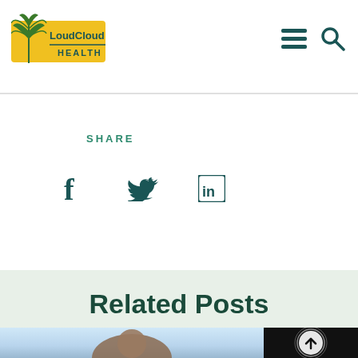[Figure (logo): LoudCloud Health logo with cannabis leaf, yellow background and teal text]
[Figure (infographic): Navigation hamburger menu icon and search icon in teal]
SHARE
[Figure (infographic): Social media share icons: Facebook (f), Twitter bird, LinkedIn (in)]
Related Posts
[Figure (photo): Buddha statue photograph with light blue sky background]
[Figure (photo): Dark photo with circular up-arrow icon overlay]